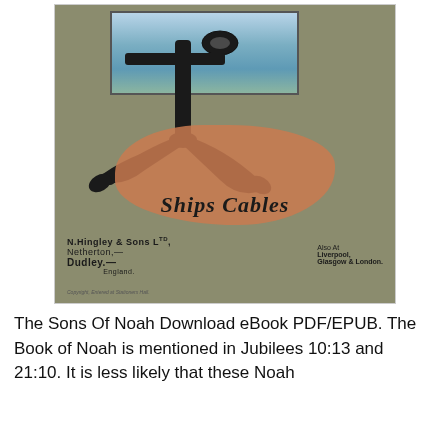[Figure (illustration): Book cover of 'Ships Cables' by N. Hingley & Sons Ltd, Netherton, Dudley, England. Also at Liverpool, Glasgow & London. Features a large black anchor overlaid on an orange/salmon splatter background, with a framed seascape panel at the top showing ocean waves and birds.]
The Sons Of Noah Download eBook PDF/EPUB. The Book of Noah is mentioned in Jubilees 10:13 and 21:10. It is less likely that these Noah